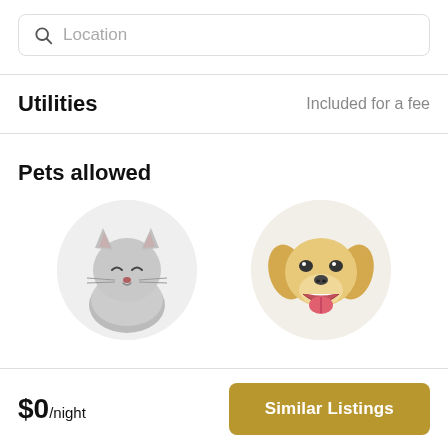[Figure (screenshot): Search bar with magnifier icon and 'Location' placeholder text]
Utilities
Included for a fee
Pets allowed
[Figure (illustration): Circular portrait of a gray cat with eyes closed]
[Figure (illustration): Circular portrait of a golden retriever puppy smiling]
$0/night
Similar Listings